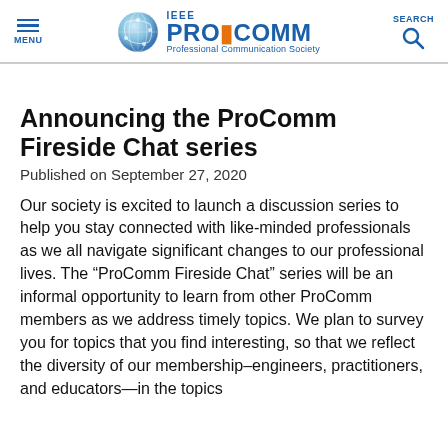IEEE ProComm Professional Communication Society
Announcing the ProComm Fireside Chat series
Published on September 27, 2020
Our society is excited to launch a discussion series to help you stay connected with like-minded professionals as we all navigate significant changes to our professional lives. The “ProComm Fireside Chat” series will be an informal opportunity to learn from other ProComm members as we address timely topics. We plan to survey you for topics that you find interesting, so that we reflect the diversity of our membership–engineers, practitioners, and educators—in the topics